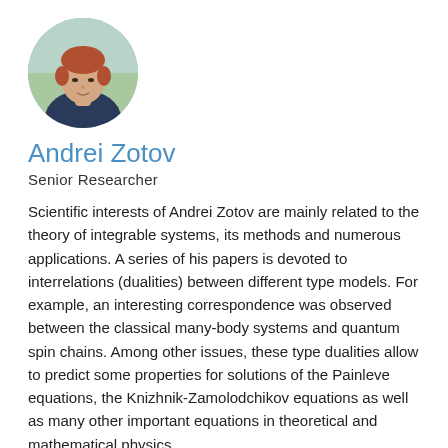[Figure (photo): Circular portrait photo of Andrei Zotov, a young man with reddish-brown hair, outdoors background]
Andrei Zotov
Senior Researcher
Scientific interests of Andrei Zotov are mainly related to the theory of integrable systems, its methods and numerous applications. A series of his papers is devoted to interrelations (dualities) between different type models. For example, an interesting correspondence was observed between the classical many-body systems and quantum spin chains. Among other issues, these type dualities allow to predict some properties for solutions of the Painleve equations, the Knizhnik-Zamolodchikov equations as well as many other important equations in theoretical and mathematical physics.